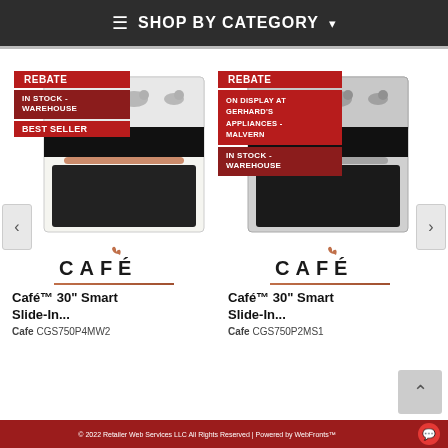☰ SHOP BY CATEGORY ▾
[Figure (photo): Café smart slide-in range, white/matte finish, with REBATE, IN STOCK - WAREHOUSE, and BEST SELLER badges]
[Figure (logo): CAFÉ brand logo with copper flame accent]
Café™ 30" Smart Slide-In...
Cafe CGS750P4MW2
[Figure (photo): Café smart slide-in range, stainless steel, with REBATE, ON DISPLAY AT GERHARD'S APPLIANCES - MALVERN, and IN STOCK - WAREHOUSE badges]
[Figure (logo): CAFÉ brand logo with copper flame accent]
Café™ 30" Smart Slide-In...
Cafe CGS750P2MS1
© 2022 Retailer Web Services LLC All Rights Reserved | Powered by WebFronts™